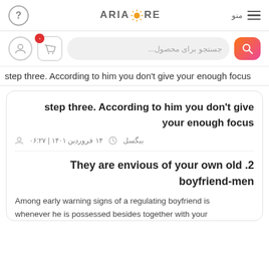ARIASTORE
[Figure (screenshot): Search bar with user icon, cart icon, and search input with placeholder text in Persian: جستجو برای محصول...]
step three. According to him you don't give your enough focus
step three. According to him you don't give your enough focus
بیگسل  ۱۴ فروردین ۱۴۰۱ | ۰۶:۲۷
2. They are envious of your own old boyfriend-men
Among early warning signs of a regulating boyfriend is whenever he is possessed besides together with your